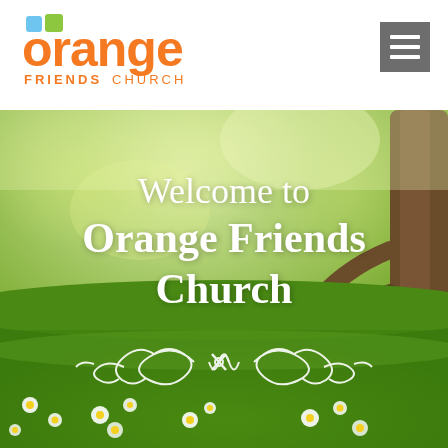Orange Friends Church — navigation header with logo and hamburger menu
[Figure (photo): Outdoor nature background photo showing green grass, white flowers (daisies), tree trunk on right, and soft bokeh greenery in background. Used as hero image behind welcome text.]
Welcome to Orange Friends Church